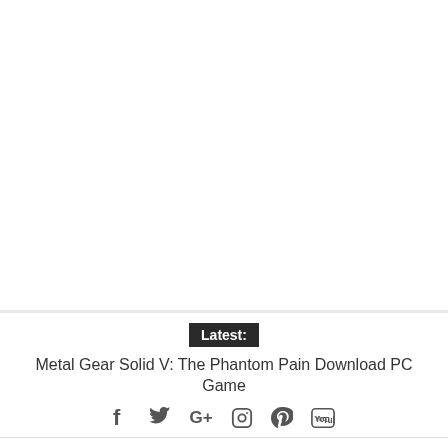[Figure (other): White empty space area at top of webpage]
Latest:
Metal Gear Solid V: The Phantom Pain Download PC Game
[Figure (other): Social media icons row: Facebook, Twitter, Google+, Instagram, Pinterest, YouTube]
[Figure (logo): Shield-shaped logo with orange and black design, partially visible at bottom]